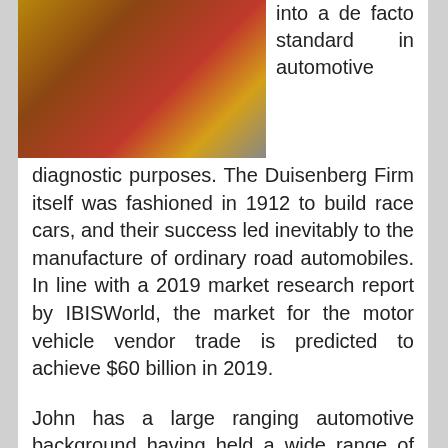[Figure (photo): Photo of a colorful car with yellow and red/brown tones, viewed from above/side angle on pavement]
into a de facto standard in automotive diagnostic purposes. The Duisenberg Firm itself was fashioned in 1912 to build race cars, and their success led inevitably to the manufacture of ordinary road automobiles. In line with a 2019 market research report by IBISWorld, the market for the motor vehicle vendor trade is predicted to achieve $60 billion in 2019.
John has a large ranging automotive background having held a wide range of roles in both Product Improvement and Manufacturing Engineering, the later